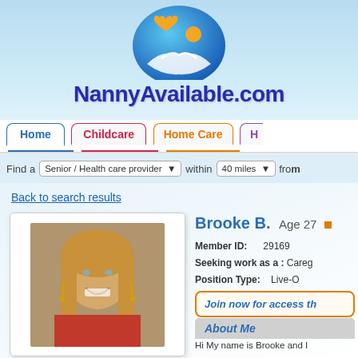[Figure (logo): NannyAvailable.com logo with orange heart and figure icons on a blue circular background, with bold dark blue text 'NannyAvailable.com']
Home | Childcare | Home Care | H
Find a  Senior / Health care provider  within  40 miles  from
Back to search results
[Figure (photo): Profile photo of a young blonde woman smiling, wearing a red top and dangling earrings]
Brooke B.  Age 27
Member ID: 29169
Seeking work as a : Careg
Position Type: Live-O
Join now for access th
About Me
Hi My name is Brooke and I